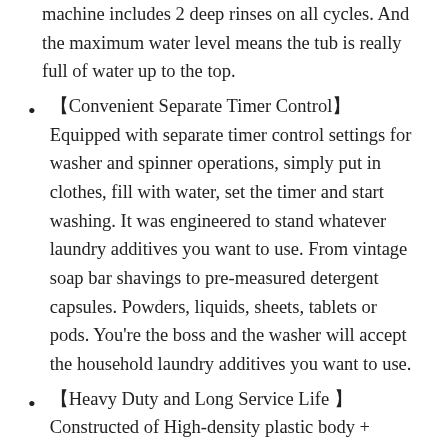machine includes 2 deep rinses on all cycles. And the maximum water level means the tub is really full of water up to the top.
【Convenient Separate Timer Control】Equipped with separate timer control settings for washer and spinner operations, simply put in clothes, fill with water, set the timer and start washing. It was engineered to stand whatever laundry additives you want to use. From vintage soap bar shavings to pre-measured detergent capsules. Powders, liquids, sheets, tablets or pods. You're the boss and the washer will accept the household laundry additives you want to use.
【Heavy Duty and Long Service Life 】Constructed of High-density plastic body + Aluminum pump + Upgraded motor , make it well built to use for years. Easy to move and transport to anywhere, lightweight and space-saving design allows it